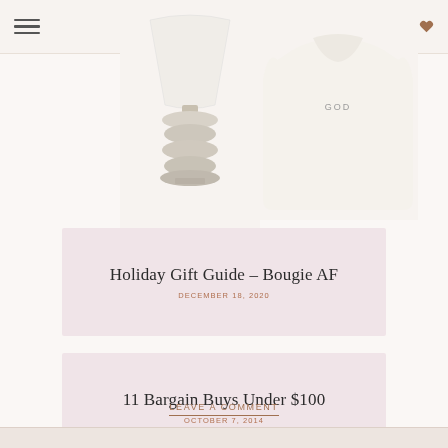Navigation header with hamburger menu and social icons: Facebook, Instagram, Twitter, Pinterest, Email, YouTube, TikTok, Heart/Favorites
[Figure (photo): Product photo of a stacked stone/pebble ceramic table lamp with white shade, cropped at top]
[Figure (photo): Product photo of a cream/ivory long sleeve sweatshirt with GOD text, cropped at top]
Holiday Gift Guide – Bougie AF
DECEMBER 18, 2020
11 Bargain Buys Under $100
OCTOBER 7, 2014
LEAVE A COMMENT